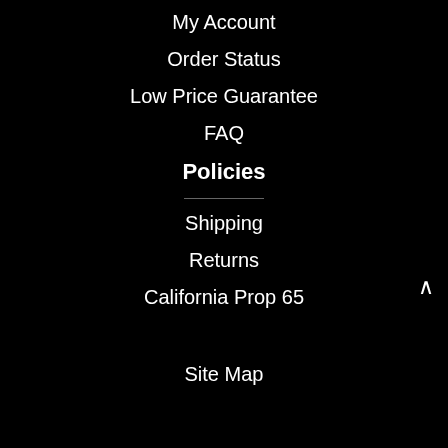My Account
Order Status
Low Price Guarantee
FAQ
Policies
Shipping
Returns
California Prop 65
Site Map